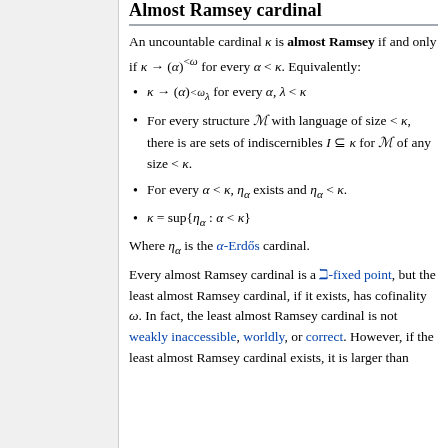Almost Ramsey cardinal
An uncountable cardinal κ is almost Ramsey if and only if κ → (α)<ω for every α < κ. Equivalently:
κ → (α)λ<ω for every α, λ < κ
For every structure M with language of size < κ, there is are sets of indiscernibles I ⊆ κ for M of any size < κ.
For every α < κ, ηα exists and ηα < κ.
κ = sup{ηα : α < κ}
Where ηα is the α-Erdős cardinal.
Every almost Ramsey cardinal is a ℶ-fixed point, but the least almost Ramsey cardinal, if it exists, has cofinality ω. In fact, the least almost Ramsey cardinal is not weakly inaccessible, worldly, or correct. However, if the least almost Ramsey cardinal exists, it is larger than